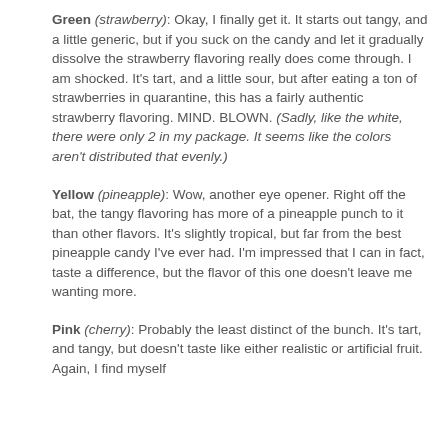Green (strawberry): Okay, I finally get it. It starts out tangy, and a little generic, but if you suck on the candy and let it gradually dissolve the strawberry flavoring really does come through. I am shocked. It's tart, and a little sour, but after eating a ton of strawberries in quarantine, this has a fairly authentic strawberry flavoring. MIND. BLOWN. (Sadly, like the white, there were only 2 in my package. It seems like the colors aren't distributed that evenly.)
Yellow (pineapple): Wow, another eye opener. Right off the bat, the tangy flavoring has more of a pineapple punch to it than other flavors. It's slightly tropical, but far from the best pineapple candy I've ever had. I'm impressed that I can in fact, taste a difference, but the flavor of this one doesn't leave me wanting more.
Pink (cherry): Probably the least distinct of the bunch. It's tart, and tangy, but doesn't taste like either realistic or artificial fruit. Again, I find myself